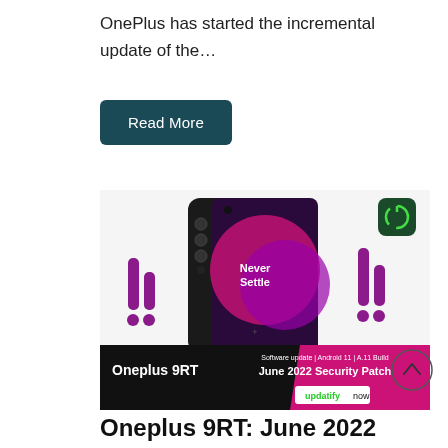OnePlus has started the incremental update of the…
Read More
[Figure (photo): OnePlus 9RT smartphone promotional image showing the device with 'Never Settle' on screen, branded with 'Oneplus 9RT June 2022 Security Patch Software update | Android 11 | A.11 Build' banner and 'updatify now' label, plus decorative purple bar-graph icons and a green power icon.]
Oneplus 9RT: June 2022